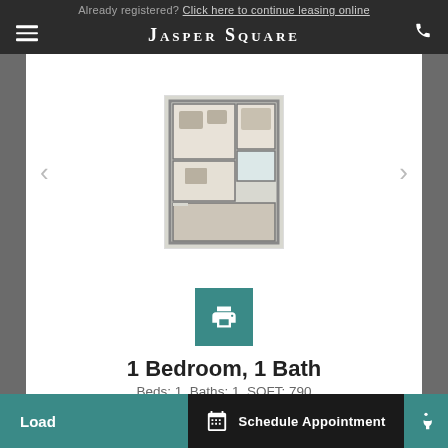Already registered? Click here to continue leasing online
Jasper Square
[Figure (illustration): Floor plan image of a 1 bedroom 1 bath apartment unit]
1 Bedroom, 1 Bath
Beds: 1, Baths: 1, SQFT: 790
Spacious • Brand new appliances and recently renovated fixtures • Private balcony/patio • Full-size in-home laundry • Wood-burning fireplace • Private garage space
Load  Schedule Appointment